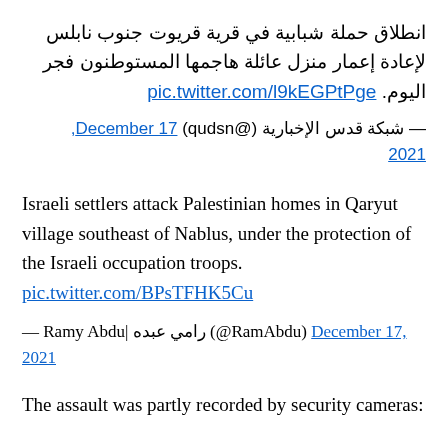انطلاق حملة شبابية في قرية قريوت جنوب نابلس لإعادة إعمار منزل عائلة هاجمها المستوطنون فجر اليوم. pic.twitter.com/l9kEGPtPge
— شبكة قدس الإخبارية (@qudsn) December 17, 2021
Israeli settlers attack Palestinian homes in Qaryut village southeast of Nablus, under the protection of the Israeli occupation troops. pic.twitter.com/BPsTFHK5Cu
— Ramy Abdu| رامي عبده (@RamAbdu) December 17, 2021
The assault was partly recorded by security cameras: